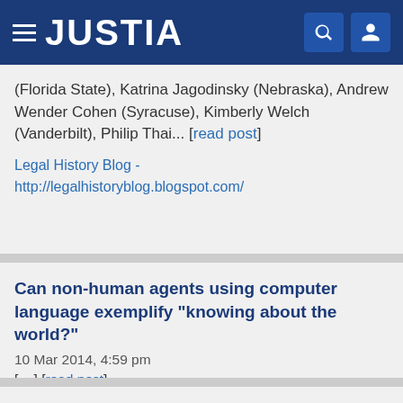JUSTIA
(Florida State), Katrina Jagodinsky (Nebraska), Andrew Wender Cohen (Syracuse), Kimberly Welch (Vanderbilt), Philip Thai... [read post]
Legal History Blog - http://legalhistoryblog.blogspot.com/
Can non-human agents using computer language exemplify "knowing about the world?"
10 Mar 2014, 4:59 pm
[....] [read post]
Ratio Juris - http://ratiojuris.blogspot.com/
Weekly eDiscovery News and Views - November 7, 2012